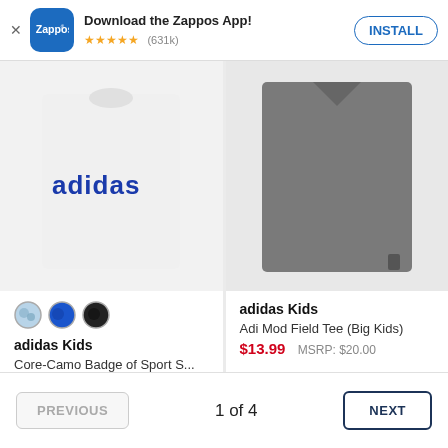[Figure (screenshot): Zappos app install banner with logo icon, star rating (631k reviews), and INSTALL button]
[Figure (photo): Adidas white t-shirt with adidas logo, partially cropped]
[Figure (photo): Adidas dark grey t-shirt, partially cropped]
[Figure (other): Three color swatches: light blue camo, blue, black]
adidas Kids
Core-Camo Badge of Sport S...
$20.00
adidas Kids
Adi Mod Field Tee (Big Kids)
$13.99  MSRP: $20.00
1 of 4